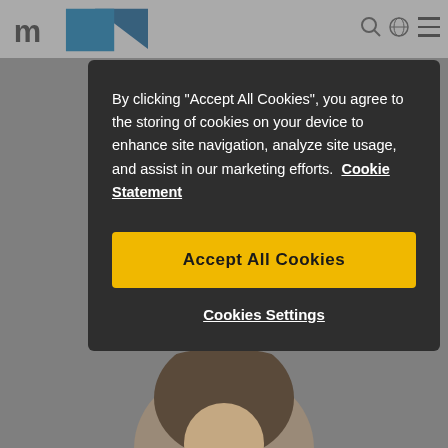[Figure (screenshot): Website header/nav bar with logo (blue triangle graphic and 'm' text) and navigation icons on the right]
By clicking “Accept All Cookies”, you agree to the storing of cookies on your device to enhance site navigation, analyze site usage, and assist in our marketing efforts. Cookie Statement
Accept All Cookies
Cookies Settings
Sales and Presales Enablement Manager, Materialise
[Figure (photo): Partial photo of a person (head and shoulders) visible behind the cookie modal overlay]